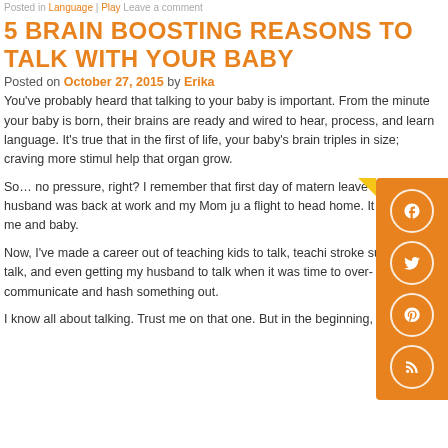Posted in Language | Play Leave a comment
5 BRAIN BOOSTING REASONS TO TALK WITH YOUR BABY
Posted on October 27, 2015 by Erika
You've probably heard that talking to your baby is important. From the minute your baby is born, their brains are ready and wired to hear, process, and learn language. It's true that in the first of life, your baby's brain triples in size; craving more stimul help that organ grow.
So… no pressure, right? I remember that first day of matern leave when my husband was back at work and my Mom ju a flight to head home. It was just me and baby.
Now, I've made a career out of teaching kids to talk, teachi stroke survivors to talk, and even getting my husband to talk when it was time to over-communicate and hash something out.
I know all about talking. Trust me on that one. But in the beginning,